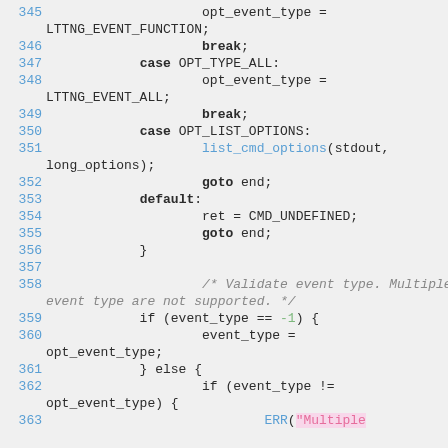[Figure (screenshot): Source code listing showing lines 345-363 of a C program, featuring switch-case statements for OPT_TYPE_ALL, OPT_LIST_OPTIONS, and default cases, followed by event_type validation logic.]